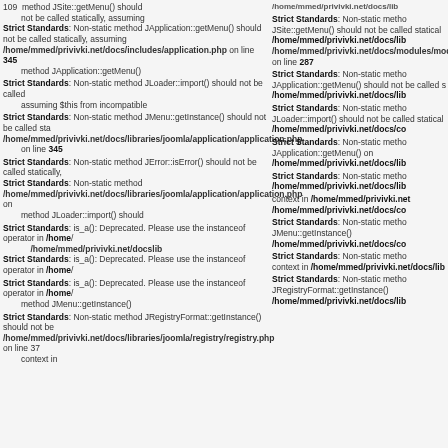109  method JSite::getMenu() should not be called statically, assuming $this from incompatible context in /home/mmed/privivki.net/docs/libraries/modules/mod_mainmenu/helper.php on line 419
Strict Standards: Non-static method JApplication::getMenu() should not be called statically, assuming $this from incompatible context in /home/mmed/privivki.net/docs/includes/application.php on line 345
Strict Standards: Non-static method JApplication::getMenu() should not be called statically, assuming $this from incompatible context
Strict Standards: Non-static method JMenu::getInstance() should not be called statically in /home/mmed/privivki.net/docs/libraries/joomla/application/application.php on line 345
Strict Standards: Non-static method JError::isError() should not be called statically in /home/mmed/privivki.net/docs/libraries/joomla/application/application.php on
Strict Standards: Non-static method JLoader::import() should not be called statically
Strict Standards: is_a(): Deprecated. Please use the instanceof operator in /home/ /home/mmed/privivki.net/docslib on line 105
Strict Standards: is_a(): Deprecated. Please use the instanceof operator in /home/
Strict Standards: is_a(): Deprecated. Please use the instanceof operator in /home/ method JMenu::getInstance()
Strict Standards: Non-static method JRegistryFormat::getInstance() should not be assuming $this from incompatible context in /home/mmed/privivki.net/docs/libraries/joomla/registry/registry.php on line 373
Strict Standards: Non-static method JSite::getMenu() should not be called statically /home/mmed/privivki.net/docs/lib
Strict Standards: Non-static method JLoader::import() should not be called statically /home/mmed/privivki.net/docs/co
Strict Standards: Non-static method JApplication::getMenu() should not be called statically /home/mmed/privivki.net/docs/lib
Strict Standards: Non-static method JMenu::getInstance() should not be called /home/mmed/privivki.net/docs/lib
Strict Standards: Non-static method JLoader::import() should not be called /home/mmed/privivki.net/docs/lib
context in /home/mmed/privivki.net /home/mmed/privivki.net/docs/co
Strict Standards: Non-static method JMenu::getInstance() /home/mmed/privivki.net/docs/co context in
/home/mmed/privivki.net/docs/lib Strict Standards: Non-static meth